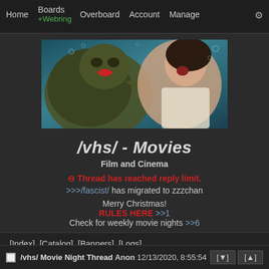Home  Boards  +Webring  Overboard  Account  Manage  ⚙
[Figure (photo): Banner image for /vhs/ board showing a classic horror movie monster (creature from the black lagoon style) on the left grabbing a screaming woman on the right, with a teal underwater background.]
/vhs/ - Movies
Film and Cinema
⊖ Thread has reached reply limit.
>>>/fascist/ has migrated to zzzchan
Merry Christmas!
RULES HERE >>1
Check for weekly movie nights >>6
[Index] [Catalog] [Banners] [Logs]
/vhs/ Movie Night Thread  Anon  12/13/2020, 8:55:54 P  [▼]  [▲]